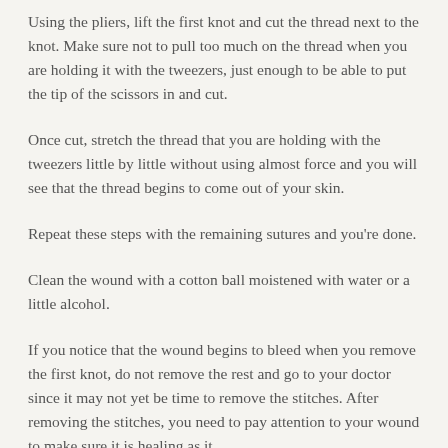Using the pliers, lift the first knot and cut the thread next to the knot. Make sure not to pull too much on the thread when you are holding it with the tweezers, just enough to be able to put the tip of the scissors in and cut.
Once cut, stretch the thread that you are holding with the tweezers little by little without using almost force and you will see that the thread begins to come out of your skin.
Repeat these steps with the remaining sutures and you're done.
Clean the wound with a cotton ball moistened with water or a little alcohol.
If you notice that the wound begins to bleed when you remove the first knot, do not remove the rest and go to your doctor since it may not yet be time to remove the stitches. After removing the stitches, you need to pay attention to your wound to make sure it is healing as it